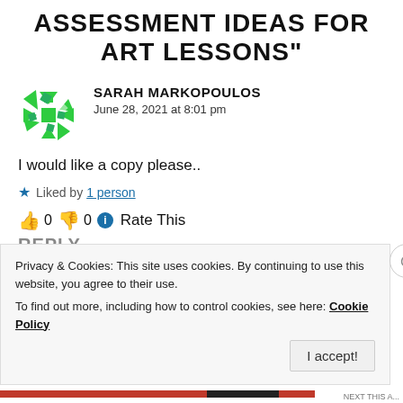ASSESSMENT IDEAS FOR ART LESSONS"
[Figure (illustration): Green geometric avatar/icon for Sarah Markopoulos]
SARAH MARKOPOULOS
June 28, 2021 at 8:01 pm
I would like a copy please..
★ Liked by 1 person
👍 0 👎 0 ℹ Rate This
REPLY
Privacy & Cookies: This site uses cookies. By continuing to use this website, you agree to their use.
To find out more, including how to control cookies, see here: Cookie Policy
I accept!